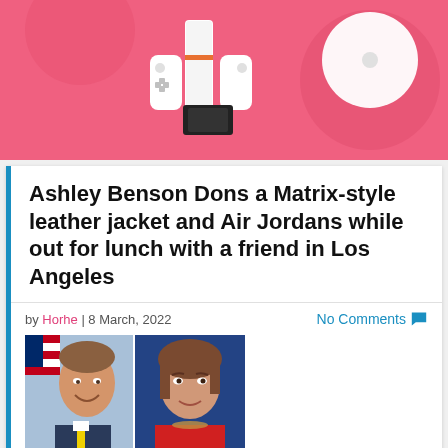[Figure (photo): Advertisement banner with pink background showing Nintendo Switch console, controllers, and game disc]
Ashley Benson Dons a Matrix-style leather jacket and Air Jordans while out for lunch with a friend in Los Angeles
by Horhe | 8 March, 2022    No Comments
[Figure (photo): Two portrait photos side by side: left shows a smiling man in a suit with an American flag in background, right shows a woman in a red outfit against a blue background]
Hypothetical 2024 Matchup: